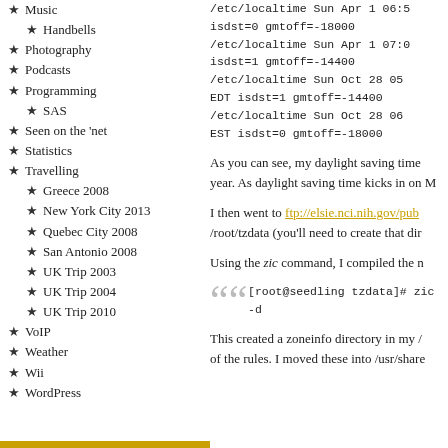Music
Handbells
Photography
Podcasts
Programming
SAS
Seen on the 'net
Statistics
Travelling
Greece 2008
New York City 2013
Quebec City 2008
San Antonio 2008
UK Trip 2003
UK Trip 2004
UK Trip 2010
VoIP
Weather
Wii
WordPress
/etc/localtime Sun Apr 1 06:5... isdst=0 gmtoff=-18000
/etc/localtime Sun Apr 1 07:0... isdst=1 gmtoff=-14400
/etc/localtime Sun Oct 28 05... EDT isdst=1 gmtoff=-14400
/etc/localtime Sun Oct 28 06... EST isdst=0 gmtoff=-18000
As you can see, my daylight saving time... year. As daylight saving time kicks in on M...
I then went to ftp://elsie.nci.nih.gov/pub... /root/tzdata (you'll need to create that dir...
Using the zic command, I compiled the n...
[root@seedling tzdata]# zic -d...
This created a zoneinfo directory in my /... of the rules. I moved these into /usr/share...